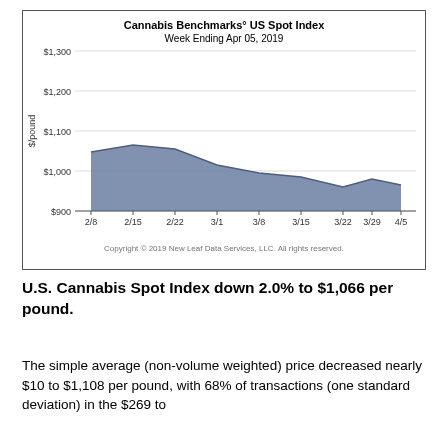[Figure (area-chart): Cannabis Benchmarks° US Spot Index — Week Ending Apr 05, 2019]
U.S. Cannabis Spot Index down 2.0% to $1,066 per pound.
The simple average (non-volume weighted) price decreased nearly $10 to $1,108 per pound, with 68% of transactions (one standard deviation) in the $269 to